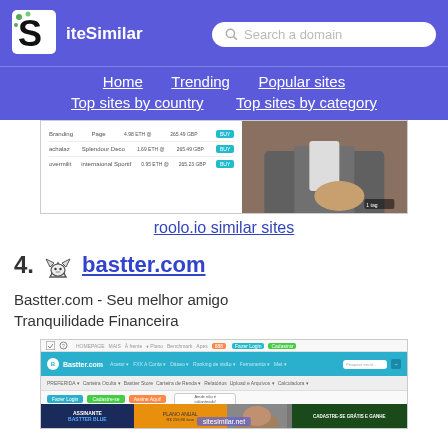[Figure (screenshot): SiteSimilar website header with logo and search bar on purple/blue background]
Home   Trending   Popular sites   Top sites by country   Top sites by category
[Figure (screenshot): Screenshot of roolo.io website showing a table with financial data and a hand holding a phone]
roolo.io similar sites
4.   bastter.com
Bastter.com - Seu melhor amigo Tranquilidade Financeira
[Figure (screenshot): Screenshot of bastter.com website showing a financial platform with teal header, navigation, login buttons, and promotional banners]